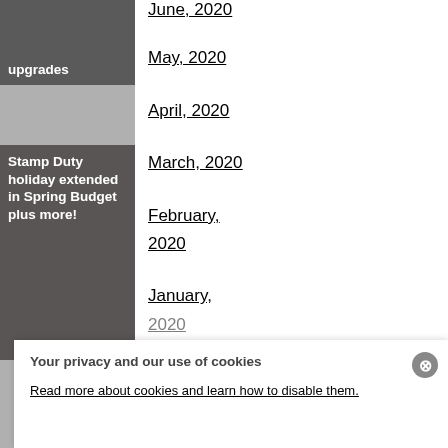upgrades
[Figure (photo): Grey placeholder image block]
Stamp Duty holiday extended in Spring Budget plus more!
[Figure (photo): Grey placeholder image block at bottom]
June, 2020
May, 2020
April, 2020
March, 2020
February, 2020
January, 2020
Your privacy and our use of cookies
Read more about cookies and learn how to disable them.